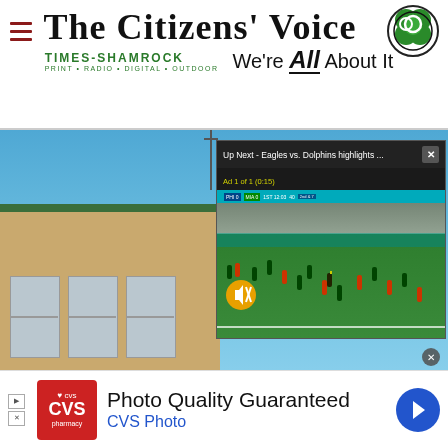The Citizens' Voice — Times-Shamrock: Print · Radio · Digital · Outdoor — We're All About It
[Figure (screenshot): Main news page screenshot showing a building exterior photo with a video overlay popup labeled 'Up Next - Eagles vs. Dolphins highlights ...' with an Eagles vs Dolphins preseason game playing and an ad '1 of 1 (0:15)', with a mute button visible. A close (×) button appears at top right of popup.]
[Figure (photo): Advertisement banner: CVS Pharmacy logo on red square, text 'Photo Quality Guaranteed' and 'CVS Photo' in blue, navigation arrow icon on right side.]